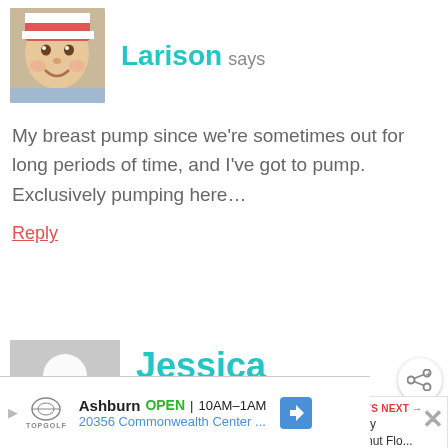[Figure (photo): Baby avatar photo - infant wearing a striped knit hat, smiling]
Larison says
My breast pump since we're sometimes out for long periods of time, and I've got to pump. Exclusively pumping here…
Reply
[Figure (illustration): Generic gray person silhouette avatar placeholder]
Jessica Lawrence says
[Figure (screenshot): Share button icon (circular white button with share symbol)]
WHAT'S NEXT → Buttery Coconut Flo...
That is a great list, and the only other things I
Ashburn OPEN 10AM–1AM 20356 Commonwealth Center ...